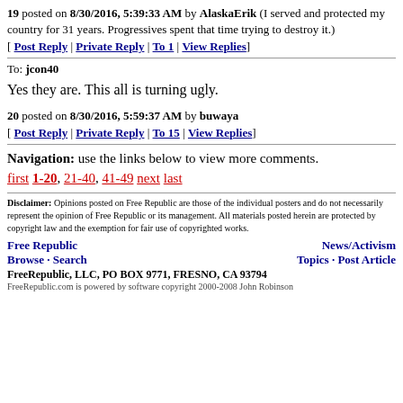19 posted on 8/30/2016, 5:39:33 AM by AlaskaErik (I served and protected my country for 31 years. Progressives spent that time trying to destroy it.) [ Post Reply | Private Reply | To 1 | View Replies]
To: jcon40
Yes they are. This all is turning ugly.
20 posted on 8/30/2016, 5:59:37 AM by buwaya [ Post Reply | Private Reply | To 15 | View Replies]
Navigation: use the links below to view more comments. first 1-20, 21-40, 41-49 next last
Disclaimer: Opinions posted on Free Republic are those of the individual posters and do not necessarily represent the opinion of Free Republic or its management. All materials posted herein are protected by copyright law and the exemption for fair use of copyrighted works.
Free Republic | News/Activism | Browse · Search | Topics · Post Article | FreeRepublic, LLC, PO BOX 9771, FRESNO, CA 93794 | FreeRepublic.com is powered by software copyright 2000-2008 John Robinson